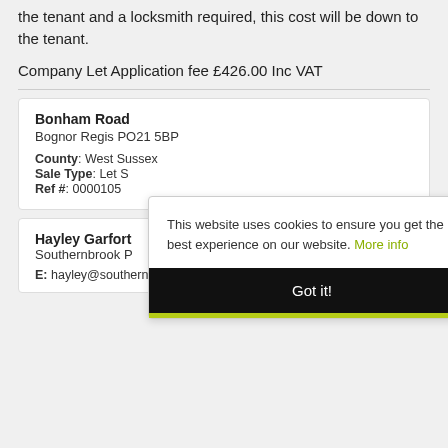the tenant and a locksmith required, this cost will be down to the tenant.
Company Let Application fee £426.00 Inc VAT
Bonham Road
Bognor Regis PO21 5BP
County: West Sussex
Sale Type: Let S...
Ref #: 0000105...
This website uses cookies to ensure you get the best experience on our website. More info
Got it!
Hayley Garfort...
Southernbrook P...
E: hayley@southernbrook.co.uk